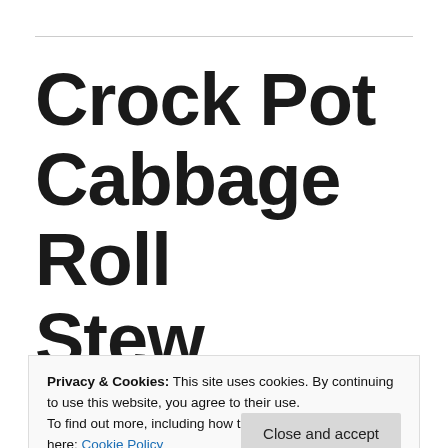Crock Pot Cabbage Roll Stew
Privacy & Cookies: This site uses cookies. By continuing to use this website, you agree to their use.
To find out more, including how to control cookies, see here: Cookie Policy
Close and accept
ultra easy! You get all of the flavours